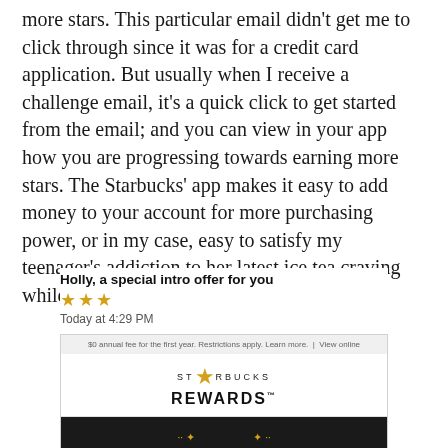more stars. This particular email didn't get me to click through since it was for a credit card application. But usually when I receive a challenge email, it's a quick click to get started from the email; and you can view in your app how you are progressing towards earning more stars. The Starbucks' app makes it easy to add money to your account for more purchasing power, or in my case, easy to satisfy my teenager's addiction to her latest ice tea craving while out with friends.
[Figure (screenshot): Screenshot of a Starbucks Rewards email preview in a mail app. Shows sender name 'Holly, a special intro offer for you', three gold stars, timestamp 'Today at 4:29 PM', a small gray top bar with fine print, the Starbucks Rewards logo with a gold star, and a dark banner beginning with 'EARN 4,500 BONUS STARS' in large white text.]